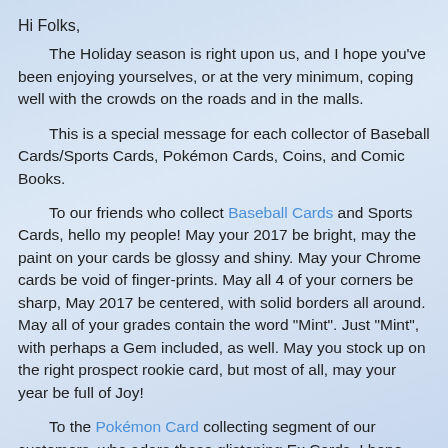Hi Folks,
The Holiday season is right upon us, and I hope you've been enjoying yourselves, or at the very minimum, coping well with the crowds on the roads and in the malls.
This is a special message for each collector of Baseball Cards/Sports Cards, Pokémon Cards, Coins, and Comic Books.
To our friends who collect Baseball Cards and Sports Cards, hello my people! May your 2017 be bright, may the paint on your cards be glossy and shiny. May your Chrome cards be void of finger-prints. May all 4 of your corners be sharp, May 2017 be centered, with solid borders all around. May all of your grades contain the word "Mint". Just "Mint", with perhaps a Gem included, as well. May you stock up on the right prospect rookie card, but most of all, may your year be full of Joy!
To the Pokémon Card collecting segment of our customers, who adore those glistening Ex Cards. I hope 2017 brings you nothing but Rare and Uncommon success